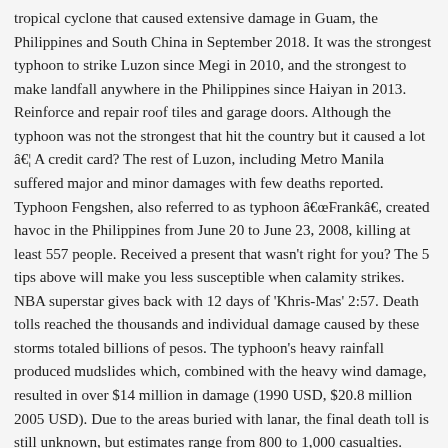tropical cyclone that caused extensive damage in Guam, the Philippines and South China in September 2018. It was the strongest typhoon to strike Luzon since Megi in 2010, and the strongest to make landfall anywhere in the Philippines since Haiyan in 2013. Reinforce and repair roof tiles and garage doors. Although the typhoon was not the strongest that hit the country but it caused a lot â€¦ A credit card? The rest of Luzon, including Metro Manila suffered major and minor damages with few deaths reported. Typhoon Fengshen, also referred to as typhoon â€œFrankâ€, created havoc in the Philippines from June 20 to June 23, 2008, killing at least 557 people. Received a present that wasn't right for you? The 5 tips above will make you less susceptible when calamity strikes. NBA superstar gives back with 12 days of 'Khris-Mas' 2:57. Death tolls reached the thousands and individual damage caused by these storms totaled billions of pesos. The typhoon's heavy rainfall produced mudslides which, combined with the heavy wind damage, resulted in over $14 million in damage (1990 USD, $20.8 million 2005 USD). Due to the areas buried with lanar, the final death toll is still unknown, but estimates range from 800 to 1,000 casualties. Typhoon Angela (Rosing) (1995) Death â€¦ June 21-27 - from E of Samar, typhoon crossed provinces of Tayabas, Nueva Ecija, and Pangasinah; houses destroyed and trees uprooted in Daet and Paracale. I'm not talking about the hot fire or the unemployed